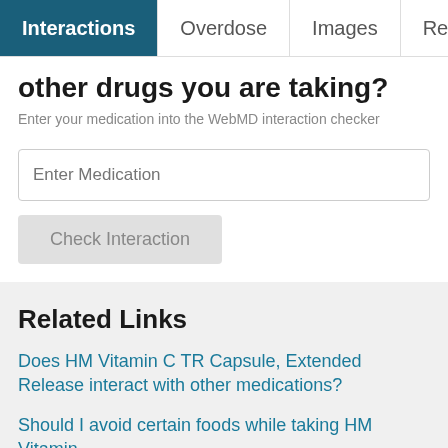Interactions | Overdose | Images | Reviews
other drugs you are taking?
Enter your medication into the WebMD interaction checker
Enter Medication
Check Interaction
Related Links
Does HM Vitamin C TR Capsule, Extended Release interact with other medications?
Should I avoid certain foods while taking HM Vitamin